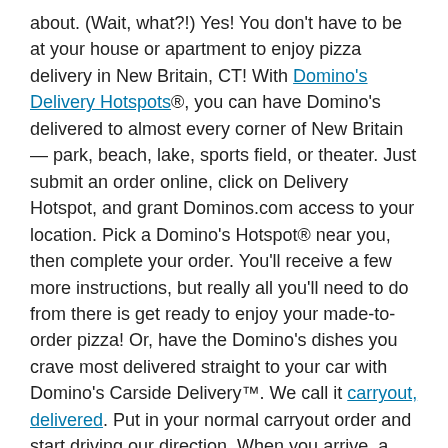about. (Wait, what?!) Yes! You don't have to be at your house or apartment to enjoy pizza delivery in New Britain, CT! With Domino's Delivery Hotspots®, you can have Domino's delivered to almost every corner of New Britain — park, beach, lake, sports field, or theater. Just submit an order online, click on Delivery Hotspot, and grant Dominos.com access to your location. Pick a Domino's Hotspot® near you, then complete your order. You'll receive a few more instructions, but really all you'll need to do from there is get ready to enjoy your made-to-order pizza! Or, have the Domino's dishes you crave most delivered straight to your car with Domino's Carside Delivery™. We call it carryout, delivered. Put in your normal carryout order and start driving our direction. When you arrive, a ready-to-go team member will bring out your order and place it in your car. Backseat or trunk — you pick. It's super easy and 100% contact-free.
MORE TO LOVE ABOUT DOMINO'S PIZZA ON STANLEY ST IN NEW BRITAIN
When you first set your eyes on your Domino's pizza order, you